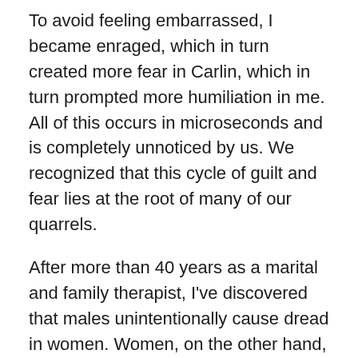To avoid feeling embarrassed, I became enraged, which in turn created more fear in Carlin, which in turn prompted more humiliation in me. All of this occurs in microseconds and is completely unnoticed by us. We recognized that this cycle of guilt and fear lies at the root of many of our quarrels.
After more than 40 years as a marital and family therapist, I've discovered that males unintentionally cause dread in women. Women, on the other hand, unwittingly cause males to feel ashamed. This is especially true when we believe our connection is under jeopardy. What Carlin and I discovered was that talking about our relationship issues made things worse, not better.
It took a long time for us to understand this. We're both therapists who earn a livelihood by talking to others. We've urged couples to speak more, because talking is the most common form of communication. However, we've found that